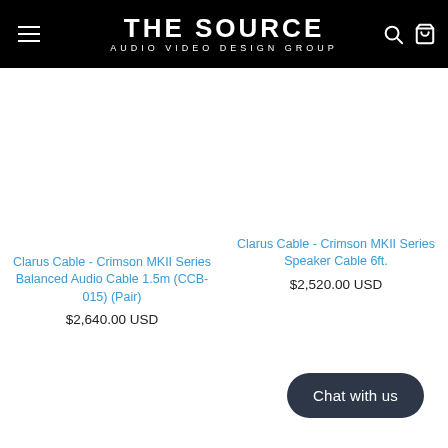THE SOURCE AUDIO VIDEO DESIGN GROUP
Clarus Cable - Crimson MKII Series Balanced Audio Cable 1.5m (CCB-015) (Pair)
$2,640.00 USD
Clarus Cable - Crimson MKII Series Speaker Cable 6ft.
$2,520.00 USD
Chat with us